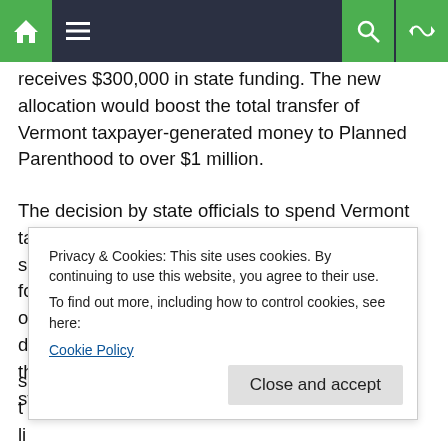Navigation bar with home, menu, search, and shuffle icons
receives $300,000 in state funding. The new allocation would boost the total transfer of Vermont taxpayer-generated money to Planned Parenthood to over $1 million.
The decision by state officials to spend Vermont tax money when federal funds are available has some Vermonters upset. “The state should look for an alternative service provider,” Carol Frenier of Chelsea said this morning. “We are deep in debt in Vermont and cannot afford to turn down the Title X money. To do so is to make a political statement in
[partial lines obscured by cookie banner]
Privacy & Cookies: This site uses cookies. By continuing to use this website, you agree to their use.
To find out more, including how to control cookies, see here:
Cookie Policy